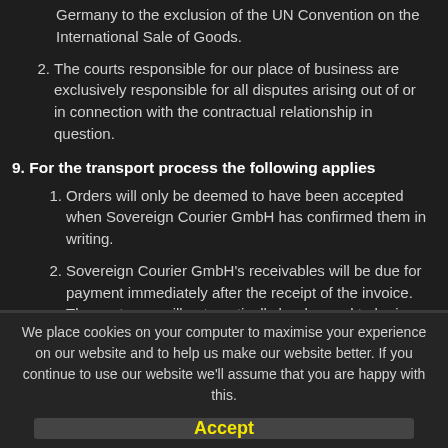Germany to the exclusion of the UN Convention on the International Sale of Goods.
2. The courts responsible for our place of business are exclusively responsible for all disputes arising out of or in connection with the contractual relationship in question.
9. For the transport process the following applies
1. Orders will only be deemed to have been accepted when Sovereign Courier GmbH has confirmed them in writing.
2. Sovereign Courier GmbH's receivables will be due for payment immediately after the receipt of the invoice. The customer will automatically be deemed to be in default if Sovereign Courier GmbH does not receive
We place cookies on your computer to maximise your experience on our website and to help us make our website better. If you continue to use our website we'll assume that you are happy with this.